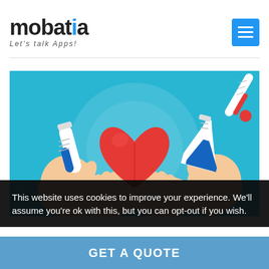mobatia – Let's talk Apps!
[Figure (illustration): Illustration on a blue background showing two hands cupping a large red heart in the center, with hands holding blue liquid-filled test tubes/flasks on the left and right sides, and a red thermometer in the upper right corner.]
This website uses cookies to improve your experience. We'll assume you're ok with this, but you can opt-out if you wish.
GET A QUOTE